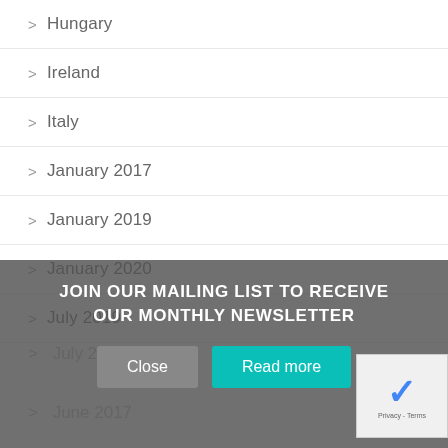> Hungary
> Ireland
> Italy
> January 2017
> January 2019
> January 2020
> July 2019
> July 2020
> June 2017
JOIN OUR MAILING LIST TO RECEIVE OUR MONTHLY NEWSLETTER
Close   Read more